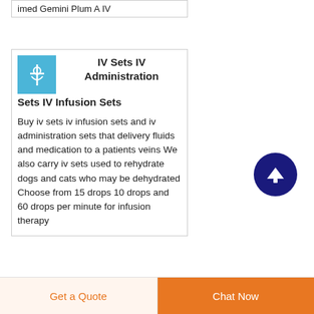imed Gemini Plum A IV
IV Sets IV Administration Sets IV Infusion Sets
[Figure (illustration): Light blue square icon with an IV set/drip illustration in white]
Buy iv sets iv infusion sets and iv administration sets that delivery fluids and medication to a patients veins We also carry iv sets used to rehydrate dogs and cats who may be dehydrated Choose from 15 drops 10 drops and 60 drops per minute for infusion therapy
[Figure (other): Dark navy blue circular scroll-to-top button with white upward arrow]
Get a Quote
Chat Now